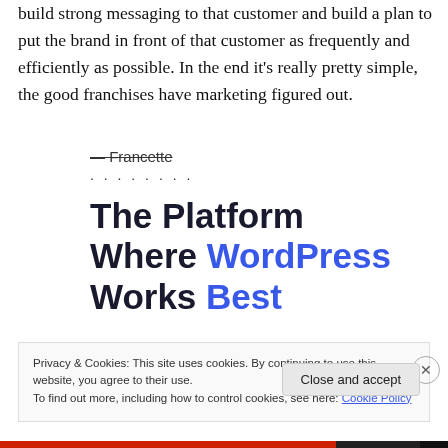build strong messaging to that customer and build a plan to put the brand in front of that customer as frequently and efficiently as possible.  In the end it's really pretty simple, the good franchises have marketing figured out.
— Francette
........
The Platform Where WordPress Works Best
Privacy & Cookies: This site uses cookies. By continuing to use this website, you agree to their use.
To find out more, including how to control cookies, see here: Cookie Policy
Close and accept